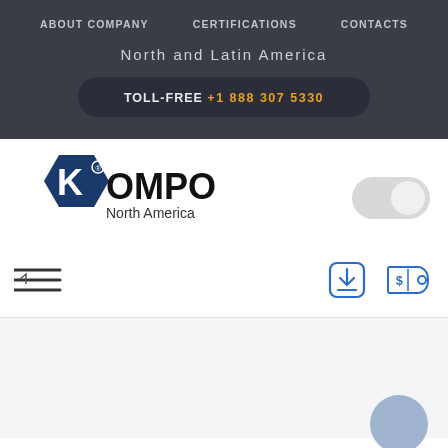ABOUT COMPANY   CERTIFICATIONS   CONTACTS
North and Latin America
TOLL-FREE +1 888 307 5330
[Figure (logo): KOMPO North America hexagon logo with K letter]
[Figure (other): Toggle pill switch UI element]
[Figure (other): Hamburger menu icon with arrow]
[Figure (other): Download inbox icon in blue]
[Figure (other): Price tag / dollar icon in blue]